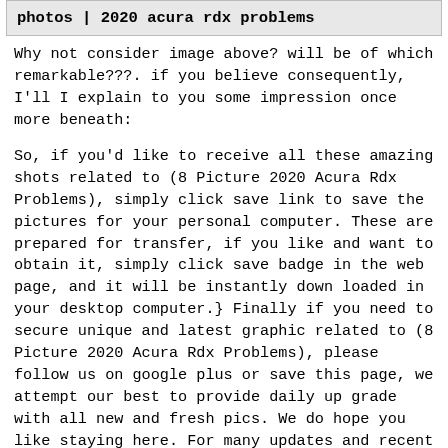photos | 2020 acura rdx problems
Why not consider image above? will be of which remarkable???. if you believe consequently, I'll I explain to you some impression once more beneath:
So, if you'd like to receive all these amazing shots related to (8 Picture 2020 Acura Rdx Problems), simply click save link to save the pictures for your personal computer. These are prepared for transfer, if you like and want to obtain it, simply click save badge in the web page, and it will be instantly down loaded in your desktop computer.} Finally if you need to secure unique and latest graphic related to (8 Picture 2020 Acura Rdx Problems), please follow us on google plus or save this page, we attempt our best to provide daily up grade with all new and fresh pics. We do hope you like staying here. For many updates and recent information about (8 Picture 2020 Acura Rdx Problems) photos, please kindly follow us on twitter, path, Instagram and google plus, or you mark this page on book mark area, We attempt to present you update regularly with fresh and